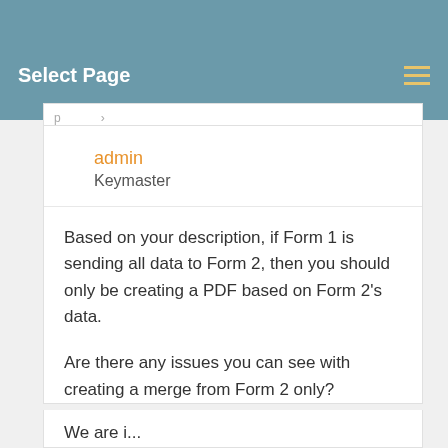Select Page
admin
Keymaster
Based on your description, if Form 1 is sending all data to Form 2, then you should only be creating a PDF based on Form 2’s data.
Are there any issues you can see with creating a merge from Form 2 only?
We are i...